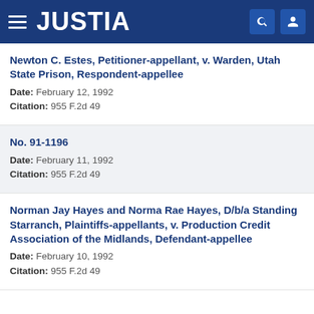JUSTIA
Newton C. Estes, Petitioner-appellant, v. Warden, Utah State Prison, Respondent-appellee
Date: February 12, 1992
Citation: 955 F.2d 49
No. 91-1196
Date: February 11, 1992
Citation: 955 F.2d 49
Norman Jay Hayes and Norma Rae Hayes, D/b/a Standing Starranch, Plaintiffs-appellants, v. Production Credit Association of the Midlands, Defendant-appellee
Date: February 10, 1992
Citation: 955 F.2d 49